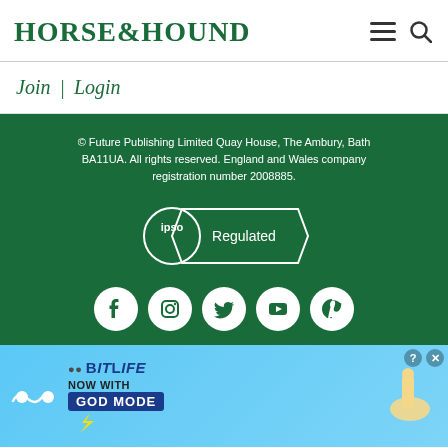HORSE&HOUND
Join | Login
© Future Publishing Limited Quay House, The Ambury, Bath BA11UA. All rights reserved. England and Wales company registration number 2008885.
[Figure (logo): IPSO Regulated badge - circular logo with ribbon]
[Figure (infographic): Social media icons: Facebook, Instagram, Twitter, YouTube, Pinterest in white circles on green background]
[Figure (photo): BitLife advertisement banner - Now with GOD MODE, light blue background with cartoon hands and lightning bolt]